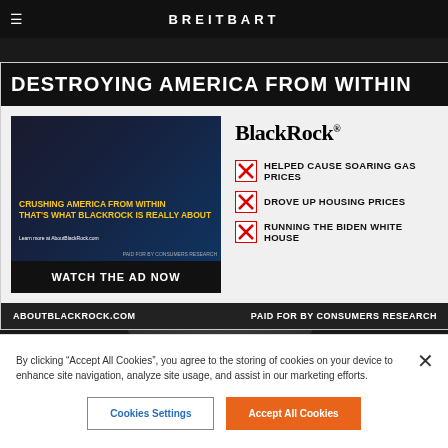BREITBART
DESTROYING AMERICA FROM WITHIN
[Figure (screenshot): Video thumbnail showing a man in front of a building with yellow text overlay reading 'CRUSHING AMERICA FROM WITHIN THAT'S WHAT BLACKROCK IS REALLY ABOUT' with a 'WATCH THE AD NOW' call to action button]
BlackRock
HELPED CAUSE SOARING GAS PRICES
DROVE UP HOUSING PRICES
RUNNING THE BIDEN WHITE HOUSE
ABOUTBLACKROCK.COM
PAID FOR BY CONSUMERS RESEARCH
By clicking “Accept All Cookies”, you agree to the storing of cookies on your device to enhance site navigation, analyze site usage, and assist in our marketing efforts.
Cookies Settings
Accept All Cookies